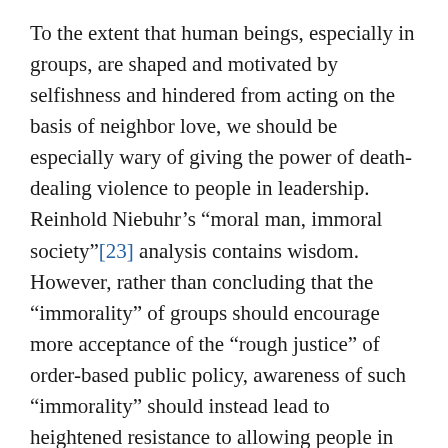To the extent that human beings, especially in groups, are shaped and motivated by selfishness and hindered from acting on the basis of neighbor love, we should be especially wary of giving the power of death-dealing violence to people in leadership.  Reinhold Niebuhr's “moral man, immoral society”[23] analysis contains wisdom. However, rather than concluding that the “immorality” of groups should encourage more acceptance of the “rough justice” of order-based public policy, awareness of such “immorality” should instead lead to heightened resistance to allowing people in power to make decisions in favor of enhanced military power.[24]